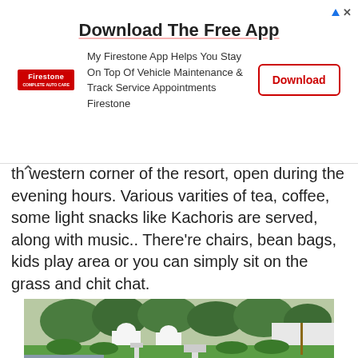[Figure (screenshot): Advertisement banner for Firestone app. Title: 'Download The Free App'. Text: 'My Firestone App Helps You Stay On Top Of Vehicle Maintenance & Track Service Appointments Firestone'. Red Download button on the right. Firestone logo on the left.]
th western corner of the resort, open during the evening hours. Various varities of tea, coffee, some light snacks like Kachoris are served, along with music.. There're chairs, bean bags, kids play area or you can simply sit on the grass and chit chat.
[Figure (photo): Outdoor photo of a resort showing white domed structures/pavilions surrounded by green trees and manicured lawns. Stone pathway and decorative elements in the foreground.]